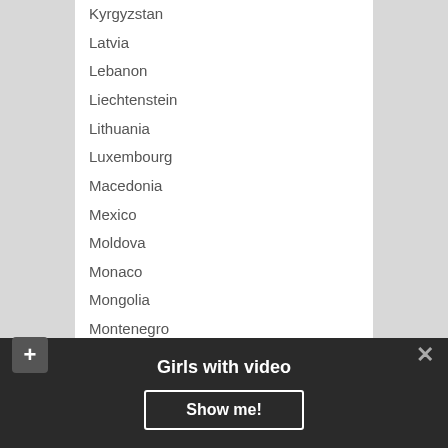Kyrgyzstan
Latvia
Lebanon
Liechtenstein
Lithuania
Luxembourg
Macedonia
Mexico
Moldova
Monaco
Mongolia
Montenegro
Netherlands
New Zealand
Nicaragua
North Korea
Norway
Other
Girls with video
Show me!